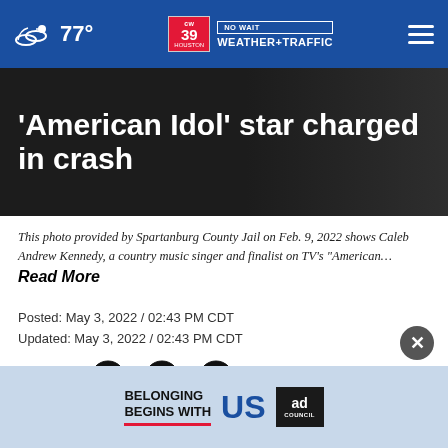77° | CW39 NO WAIT WEATHER+TRAFFIC
'American Idol' star charged in crash
This photo provided by Spartanburg County Jail on Feb. 9, 2022 shows Caleb Andrew Kennedy, a country music singer and finalist on TV's "American…
Read More
Posted: May 3, 2022 / 02:43 PM CDT
Updated: May 3, 2022 / 02:43 PM CDT
SHARE
SPART… ge
has de…